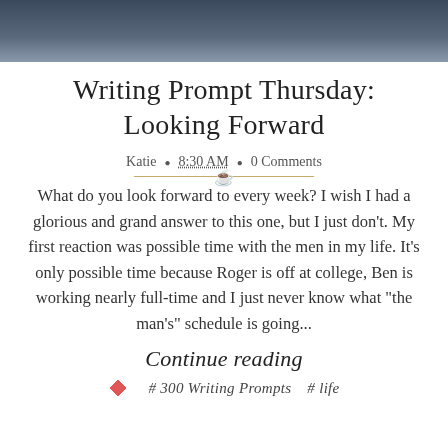[Figure (photo): Dark blue-grey header image, partial photo of a dark background]
Writing Prompt Thursday: Looking Forward
Katie  •  8:30 AM  •  0 Comments
What do you look forward to every week? I wish I had a glorious and grand answer to this one, but I just don't. My first reaction was possible time with the men in my life. It's only possible time because Roger is off at college, Ben is working nearly full-time and I just never know what "the man's" schedule is going...
Continue reading
# 300 Writing Prompts   # life